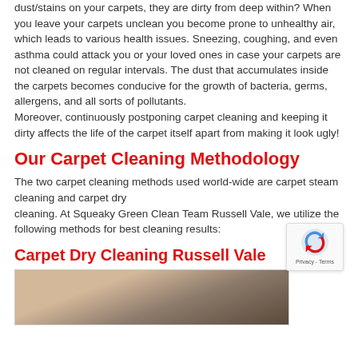dust/stains on your carpets, they are dirty from deep within? When you leave your carpets unclean you become prone to unhealthy air, which leads to various health issues. Sneezing, coughing, and even asthma could attack you or your loved ones in case your carpets are not cleaned on regular intervals. The dust that accumulates inside the carpets becomes conducive for the growth of bacteria, germs, allergens, and all sorts of pollutants. Moreover, continuously postponing carpet cleaning and keeping it dirty affects the life of the carpet itself apart from making it look ugly!
Our Carpet Cleaning Methodology
The two carpet cleaning methods used world-wide are carpet steam cleaning and carpet dry cleaning. At Squeaky Green Clean Team Russell Vale, we utilize the following methods for best cleaning results:
Carpet Dry Cleaning Russell Vale
[Figure (photo): Photo of a person cleaning a carpet with a vacuum or cleaning tool, partially visible at bottom of page.]